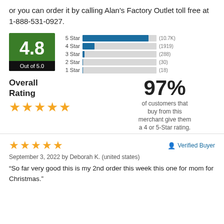or you can order it by calling Alan's Factory Outlet toll free at 1-888-531-0927.
[Figure (bar-chart): Star Rating Distribution]
Overall Rating
97% of customers that buy from this merchant give them a 4 or 5-Star rating.
September 3, 2022 by Deborah K. (united states)
“So far very good this is my 2nd order this week this one for mom for Christmas.”